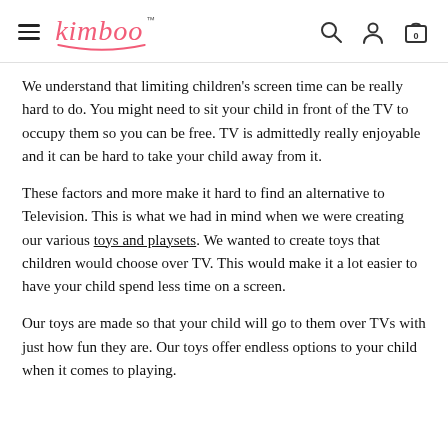kimboo™ [navigation header with hamburger menu, search, account, and cart icons]
We understand that limiting children's screen time can be really hard to do. You might need to sit your child in front of the TV to occupy them so you can be free. TV is admittedly really enjoyable and it can be hard to take your child away from it.
These factors and more make it hard to find an alternative to Television. This is what we had in mind when we were creating our various toys and playsets. We wanted to create toys that children would choose over TV. This would make it a lot easier to have your child spend less time on a screen.
Our toys are made so that your child will go to them over TVs with just how fun they are. Our toys offer endless options to your child when it comes to playing.